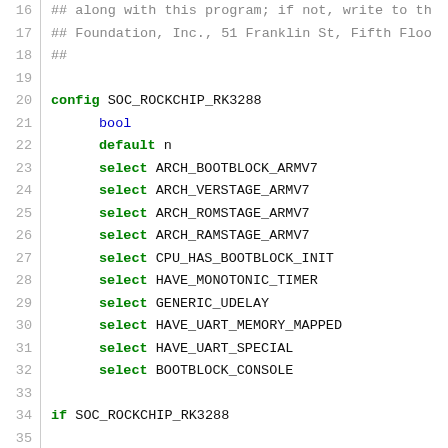Source code listing (Kconfig file), lines 16-42, showing SOC_ROCKCHIP_RK3288 config block and BOOTBLOCK_CPU_INIT config block with select statements and comments.